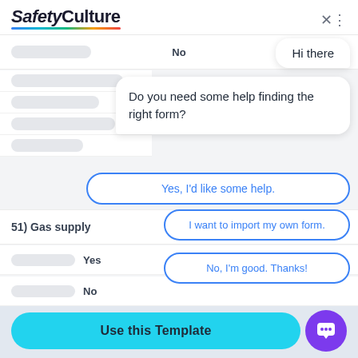SafetyCulture
[Figure (screenshot): SafetyCulture app screenshot showing a chatbot overlay on a form. The chat shows: 'Hi there', 'Do you need some help finding the right form?', and three reply options: 'Yes, I'd like some help.', 'I want to import my own form.', 'No, I'm good. Thanks!' The form behind shows items including '51) Gas supply' with Yes/No answers.]
No
Hi there
Do you need some help finding the right form?
Yes, I'd like some help.
51) Gas supply
I want to import my own form.
Yes
No, I'm good. Thanks!
No
Use this Template